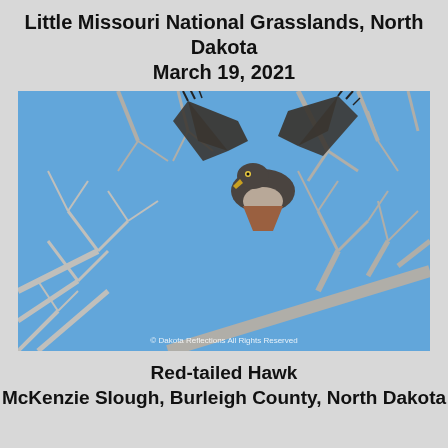Little Missouri National Grasslands, North Dakota
March 19, 2021
[Figure (photo): A Red-tailed Hawk taking flight from bare tree branches against a blue sky. Watermark reads: © Dakota Reflections All Rights Reserved]
Red-tailed Hawk
McKenzie Slough, Burleigh County, North Dakota